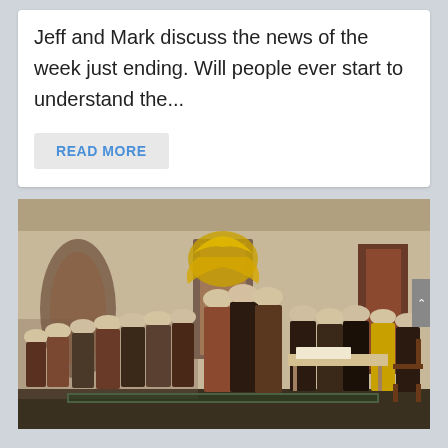Jeff and Mark discuss the news of the week just ending. Will people ever start to understand the...
READ MORE
[Figure (illustration): Historical painting depicting the presentation of the Declaration of Independence, with the Founding Fathers gathered in a large room.]